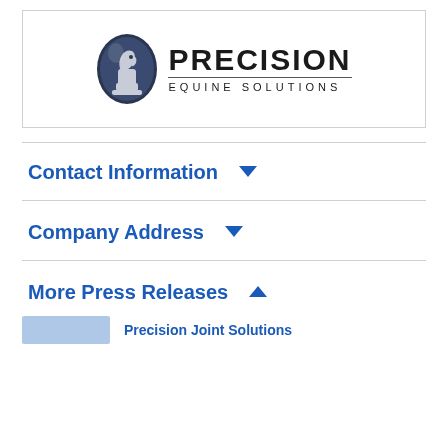[Figure (logo): Precision Equine Solutions logo with dark oval emblem containing a horse knight chess piece and bold text PRECISION with EQUINE SOLUTIONS below]
Contact Information ▼
Company Address ▼
More Press Releases ▲
Precision Joint Solutions